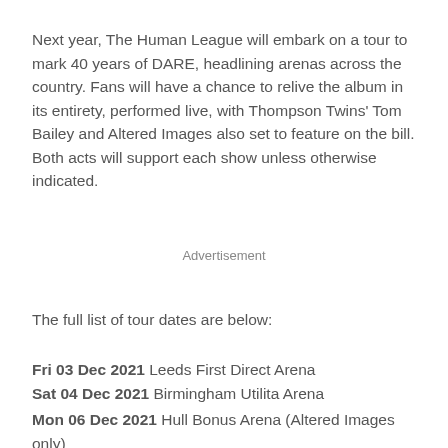Next year, The Human League will embark on a tour to mark 40 years of DARE, headlining arenas across the country. Fans will have a chance to relive the album in its entirety, performed live, with Thompson Twins' Tom Bailey and Altered Images also set to feature on the bill. Both acts will support each show unless otherwise indicated.
Advertisement
The full list of tour dates are below:
Fri 03 Dec 2021 Leeds First Direct Arena
Sat 04 Dec 2021 Birmingham Utilita Arena
Mon 06 Dec 2021 Hull Bonus Arena (Altered Images only)
Tue 07 Dec 2021 Newcastle O2 City Hall (Altered Images only)